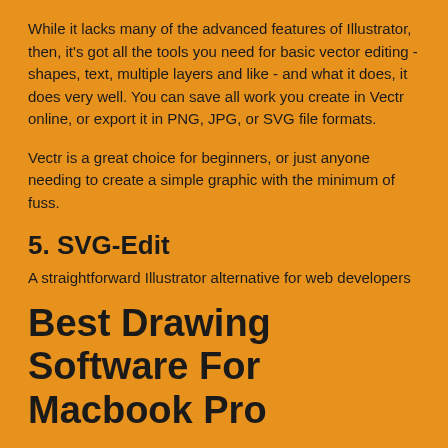While it lacks many of the advanced features of Illustrator, then, it's got all the tools you need for basic vector editing - shapes, text, multiple layers and like - and what it does, it does very well. You can save all work you create in Vectr online, or export it in PNG, JPG, or SVG file formats.
Vectr is a great choice for beginners, or just anyone needing to create a simple graphic with the minimum of fuss.
5. SVG-Edit
A straightforward Illustrator alternative for web developers
Best Drawing Software For Macbook Pro
No server-side processing
If your prime reason for wanting a vector graphics editor is to create SVG files for websites, then SVG-Edit may be all you need. You can use this free vector software within your web